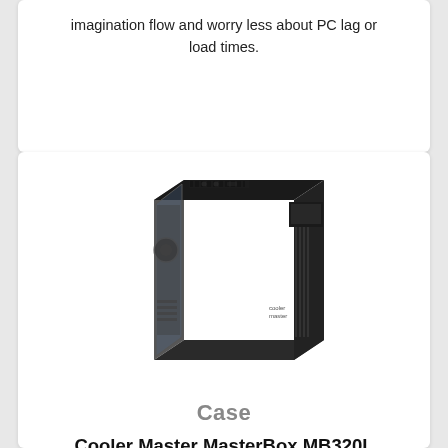imagination flow and worry less about PC lag or load times.
[Figure (photo): Cooler Master MasterBox MB320L Mid Tower Case product photo, showing a black mid-tower PC case at an angle with a transparent side panel and mesh front.]
Case
Cooler Master MasterBox MB320L Mid Tower Case
The Cooler Master MasterBox MB320L Mid Tower Case comes with a dark mirror front panel with red